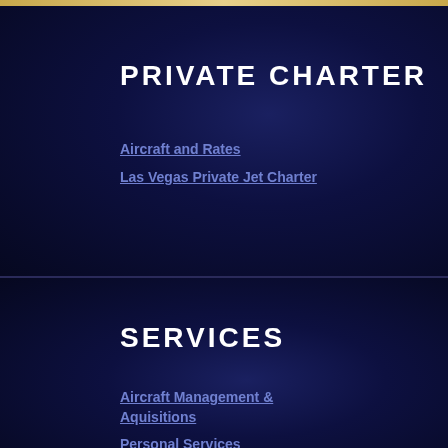PRIVATE CHARTER
Aircraft and Rates
Las Vegas Private Jet Charter
SERVICES
Aircraft Management & Aquisitions
Personal Services